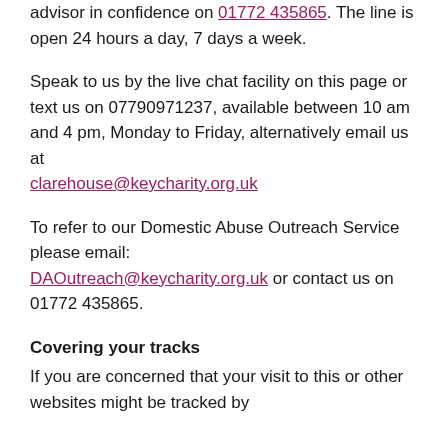advisor in confidence on 01772 435865. The line is open 24 hours a day, 7 days a week.
Speak to us by the live chat facility on this page or text us on 07790971237, available between 10 am and 4 pm, Monday to Friday, alternatively email us at clarehouse@keycharity.org.uk
To refer to our Domestic Abuse Outreach Service please email: DAOutreach@keycharity.org.uk or contact us on 01772 435865.
Covering your tracks
If you are concerned that your visit to this or other websites might be tracked by